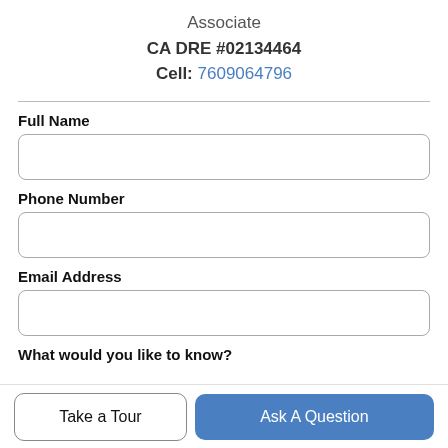Associate
CA DRE #02134464
Cell: 7609064796
Full Name
Phone Number
Email Address
What would you like to know?
Take a Tour
Ask A Question